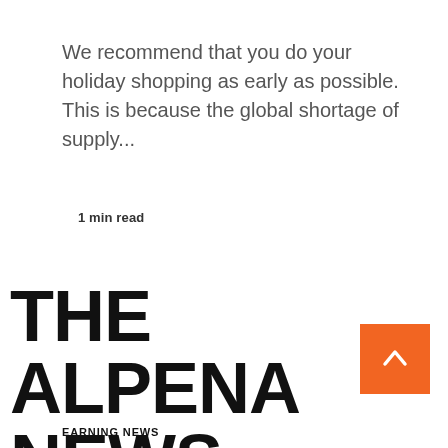We recommend that you do your holiday shopping as early as possible. This is because the global shortage of supply...
1 min read
[Figure (logo): The Alpena News newspaper logo in bold black stylized font]
[Figure (other): Orange scroll-to-top button with white upward arrow]
EARNING NEWS